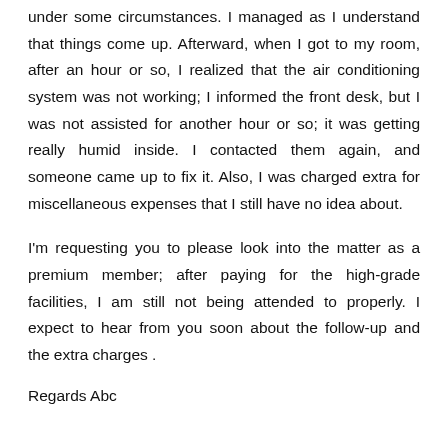under some circumstances. I managed as I understand that things come up. Afterward, when I got to my room, after an hour or so, I realized that the air conditioning system was not working; I informed the front desk, but I was not assisted for another hour or so; it was getting really humid inside. I contacted them again, and someone came up to fix it. Also, I was charged extra for miscellaneous expenses that I still have no idea about.
I'm requesting you to please look into the matter as a premium member; after paying for the high-grade facilities, I am still not being attended to properly. I expect to hear from you soon about the follow-up and the extra charges .
Regards Abc